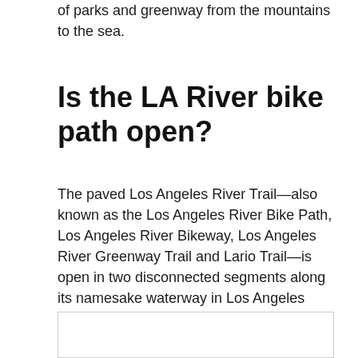of parks and greenway from the mountains to the sea.
Is the LA River bike path open?
The paved Los Angeles River Trail—also known as the Los Angeles River Bike Path, Los Angeles River Bikeway, Los Angeles River Greenway Trail and Lario Trail—is open in two disconnected segments along its namesake waterway in Los Angeles County.
[Figure (other): Empty bordered image box placeholder]